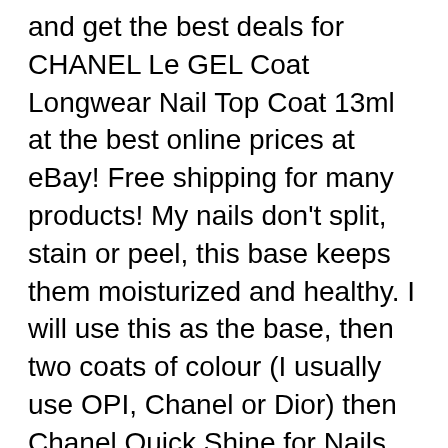and get the best deals for CHANEL Le GEL Coat Longwear Nail Top Coat 13ml at the best online prices at eBay! Free shipping for many products! My nails don't split, stain or peel, this base keeps them moisturized and healthy. I will use this as the base, then two coats of colour (I usually use OPI, Chanel or Dior) then Chanel Quick Shine for Nails as the topcoat and my manicures usually last about a в„¦ Read more
в†ќ Price review CHANEL ROUGE COCO GLOSS Top Coat Find the best reviewed and extremely niceCHANEL ROUGE COCO GLOSS Top Coat . and online store for each and every occasion. win now for the concluding approach of CHANEL